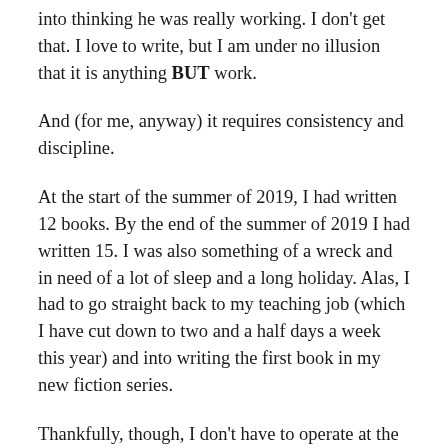into thinking he was really working. I don't get that. I love to write, but I am under no illusion that it is anything BUT work.
And (for me, anyway) it requires consistency and discipline.
At the start of the summer of 2019, I had written 12 books. By the end of the summer of 2019 I had written 15. I was also something of a wreck and in need of a lot of sleep and a long holiday. Alas, I had to go straight back to my teaching job (which I have cut down to two and a half days a week this year) and into writing the first book in my new fiction series.
Thankfully, though, I don't have to operate at the exhausting pace I've maintained for the last 3 months, and to be honest, I hope I never have to again. That frenzy of activity was all meant to put me in the place where I am